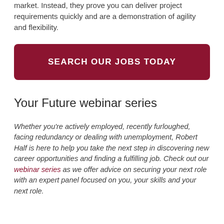market. Instead, they prove you can deliver project requirements quickly and are a demonstration of agility and flexibility.
[Figure (other): Dark red/crimson rounded rectangle button with white uppercase text: SEARCH OUR JOBS TODAY]
Your Future webinar series
Whether you’re actively employed, recently furloughed, facing redundancy or dealing with unemployment, Robert Half is here to help you take the next step in discovering new career opportunities and finding a fulfilling job. Check out our webinar series as we offer advice on securing your next role with an expert panel focused on you, your skills and your next role.